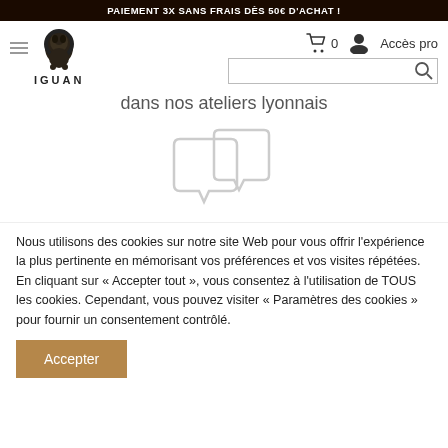PAIEMENT 3X SANS FRAIS DÈS 50€ D'ACHAT !
[Figure (logo): IGUAN logo with lion illustration and brand name text]
Accès pro
dans nos ateliers lyonnais
[Figure (illustration): Two overlapping speech bubble / chat icons in light gray outline]
Nous utilisons des cookies sur notre site Web pour vous offrir l'expérience la plus pertinente en mémorisant vos préférences et vos visites répétées. En cliquant sur « Accepter tout », vous consentez à l'utilisation de TOUS les cookies. Cependant, vous pouvez visiter « Paramètres des cookies » pour fournir un consentement contrôlé.
Accepter